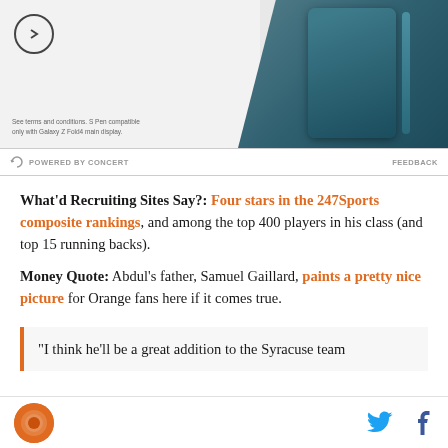[Figure (photo): Advertisement banner showing a Samsung Galaxy Z Fold4 smartphone with S Pen stylus on teal/dark blue background, with circle arrow button and small disclaimer text]
POWERED BY CONCERT   FEEDBACK
What'd Recruiting Sites Say?: Four stars in the 247Sports composite rankings, and among the top 400 players in his class (and top 15 running backs).
Money Quote: Abdul's father, Samuel Gaillard, paints a pretty nice picture for Orange fans here if it comes true.
“I think he’ll be a great addition to the Syracuse team
[Figure (logo): Syracuse Orange logo circle in footer]
[Figure (other): Twitter bird icon and Facebook f icon in footer]